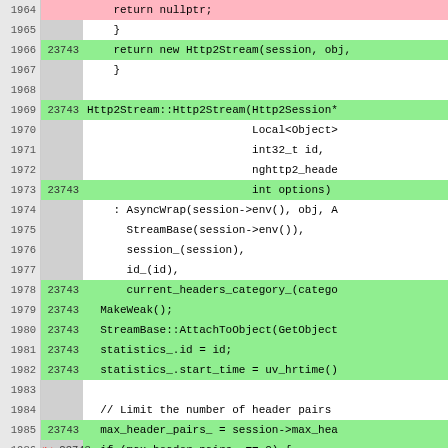[Figure (screenshot): Code coverage viewer showing source lines 1964-1990 of a C++ file with line numbers, hit counts, and highlighted coverage status (green=covered, pink=uncovered, white=not instrumented). Code is from Http2Stream class constructor and related methods.]